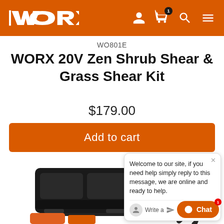[Figure (logo): WORX logo in white on orange header bar]
WO801E
WORX 20V Zen Shrub Shear & Grass Shear Kit
$179.00
Add to cart
[Figure (photo): Product photo showing a black dual-port battery charger and a shrub/grass shear tool]
Welcome to our site, if you need help simply reply to this message, we are online and ready to help.
Write a